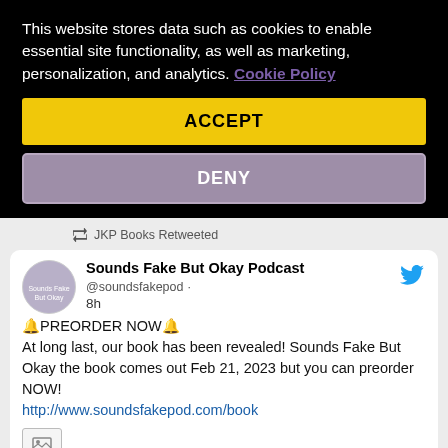This website stores data such as cookies to enable essential site functionality, as well as marketing, personalization, and analytics. Cookie Policy
ACCEPT
DENY
JKP Books Retweeted
Sounds Fake But Okay Podcast @soundsfakepod · 8h
🔔PREORDER NOW🔔
At long last, our book has been revealed! Sounds Fake But Okay the book comes out Feb 21, 2023 but you can preorder NOW! http://www.soundsfakepod.com/book
87   420   Twitter